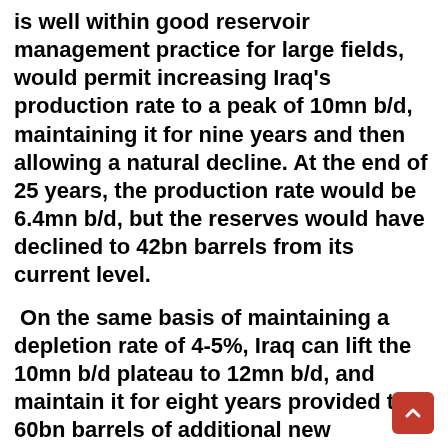is well within good reservoir management practice for large fields, would permit increasing Iraq's production rate to a peak of 10mn b/d, maintaining it for nine years and then allowing a natural decline. At the end of 25 years, the production rate would be 6.4mn b/d, but the reserves would have declined to 42bn barrels from its current level.
On the same basis of maintaining a depletion rate of 4-5%, Iraq can lift the 10mn b/d plateau to 12mn b/d, and maintain it for eight years provided that 60bn barrels of additional new discoveries are added. This represents only 2...